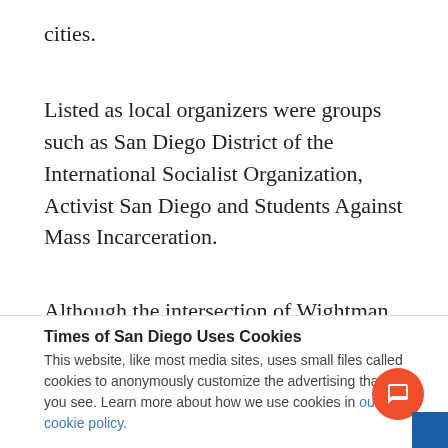cities.
Listed as local organizers were groups such as San Diego District of the International Socialist Organization, Activist San Diego and Students Against Mass Incarceration.
Although the intersection of Wightman and Fairmount was blocked around 8 p.m., no arrests
Times of San Diego Uses Cookies
This website, like most media sites, uses small files called cookies to anonymously customize the advertising that you see. Learn more about how we use cookies in our cookie policy.